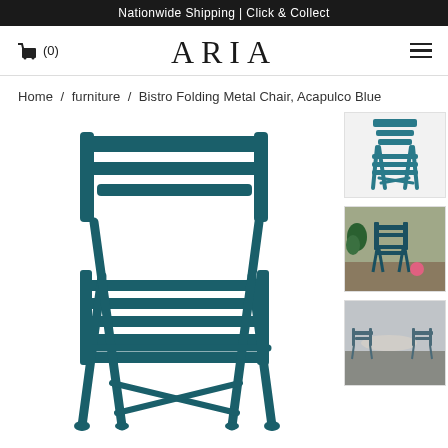Nationwide Shipping | Click & Collect
(0)
ARIA
Home / furniture / Bistro Folding Metal Chair, Acapulco Blue
[Figure (photo): Large product image of a teal/blue Bistro Folding Metal Chair shown from a 3/4 front angle on white background]
[Figure (photo): Small thumbnail of the same teal Bistro Folding Metal Chair on white background]
[Figure (photo): Small thumbnail of the teal Bistro chair in an outdoor patio setting with plants and a table]
[Figure (photo): Small thumbnail of the Bistro chair in an outdoor cafe/bistro setting, grey toned]